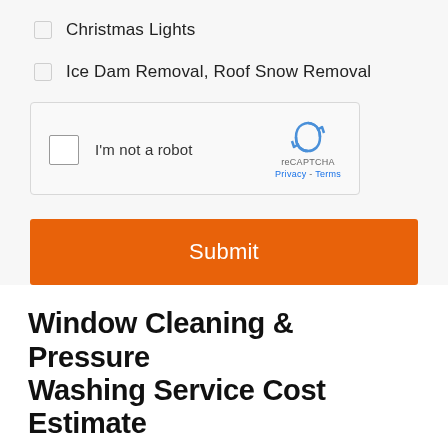Christmas Lights
Ice Dam Removal, Roof Snow Removal
[Figure (screenshot): reCAPTCHA widget with checkbox labeled I'm not a robot, and reCAPTCHA Privacy - Terms branding]
Submit
Window Cleaning & Pressure Washing Service Cost Estimate
To accurately estimate the cost of a window cleaning or pressure washing service, our team will contact you after your form submission to gather details of your requested service. These details will include specific